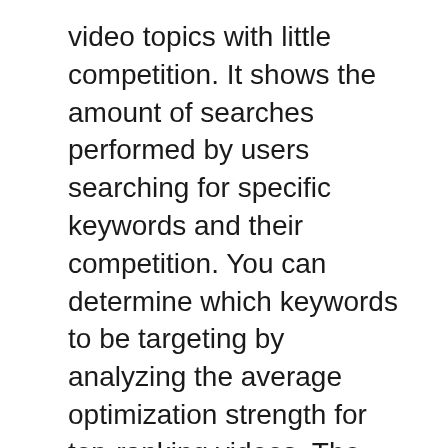video topics with little competition. It shows the amount of searches performed by users searching for specific keywords and their competition. You can determine which keywords to be targeting by analyzing the average optimization strength for top-ranking videos. The most appropriate keyword will help you increase your YouTube video's visibility within a niche.
TubeBuddy allows you to create thumbnails for each video that you upload. TubeBuddy suggests that thumbnails be made using Photoshop. It also has an option to filter comments. TubeBuddy is able to search for comments that have a connection to your brand and playlists. This tool is particularly useful if your audience enjoys your videos. It